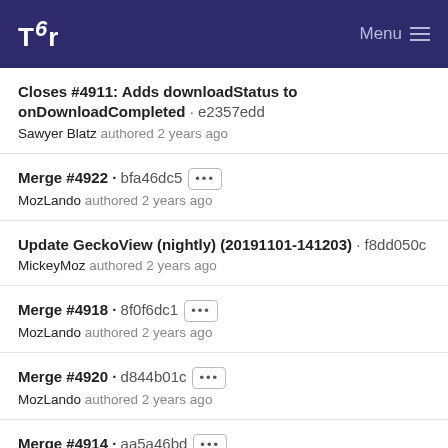Tor | Menu
Closes #4911: Adds downloadStatus to onDownloadCompleted · e2357edd
Sawyer Blatz authored 2 years ago
Merge #4922 · bfa46dc5 [...]
MozLando authored 2 years ago
Update GeckoView (nightly) (20191101-141203) · f8dd050c
MickeyMoz authored 2 years ago
Merge #4918 · 8f0f6dc1 [...]
MozLando authored 2 years ago
Merge #4920 · d844b01c [...]
MozLando authored 2 years ago
Merge #4914 · aa5a46bd [...]
MozLando authored 2 years ago
Update docs (20191101-100603) · 180b9a13